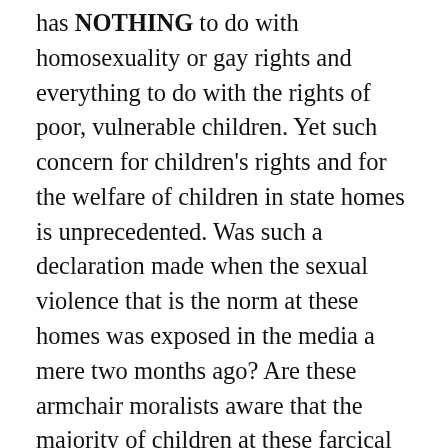has NOTHING to do with homosexuality or gay rights and everything to do with the rights of poor, vulnerable children. Yet such concern for children's rights and for the welfare of children in state homes is unprecedented. Was such a declaration made when the sexual violence that is the norm at these homes was exposed in the media a mere two months ago? Are these armchair moralists aware that the majority of children at these farcical 'places of safety' are routinely buggered and raped, often by adult staff members? Where was the disproportionate outrage now being displayed over the education of these children when the Jamaica Observer detailed the kind of sexual abuse young boys in one particular home were subject to?